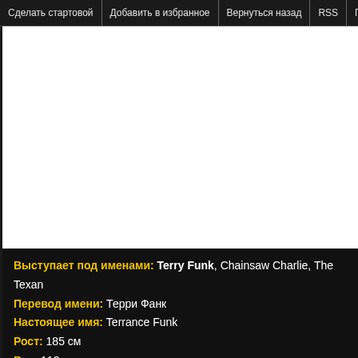Сделать стартовой | Добавить в избранное | Вернуться назад | RSS | Группа ВКонт…
[Figure (photo): White image area (wrestler photo placeholder)]
Выступает под именами: Terry Funk, Chainsaw Charlie, The Texan
Перевод имени: Терри Фанк
Настоящее имя: Terrance Funk
Рост: 185 см
Вес: 112 кг
День Рождения: 30 июня 1944
Место Рождения: Canyon, Texas
Дебют: 9 декабря 1965